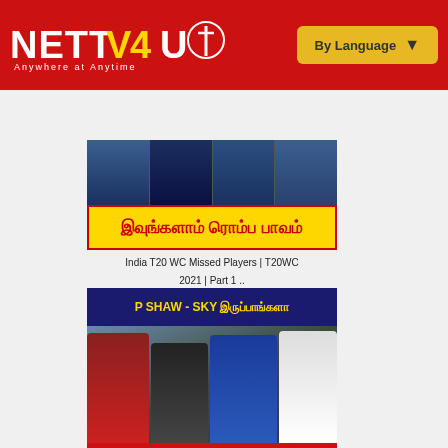[Figure (screenshot): NETTV4U website header with red background, logo on left and 'By Language' yellow dropdown button on right]
[Figure (screenshot): Hamburger menu button on red navigation bar]
[Figure (photo): India T20 WC Missed Players thumbnail with Tamil text 'இவுங்களாம் ரொம்ப பாவம்' on yellow background]
India T20 WC Missed Players | T20WC 2021 | Part 1 ..
[Figure (photo): Pirthvi Shaw - SKY India Vs England Series thumbnail with blue header 'P SHAW - SKY இருப்பாங்களா' and red footer 'INDIA VS ENGLAND SERIES']
Pirthvi Shaw - SKY இருப்பாங்களா ? | India Vs Engla..